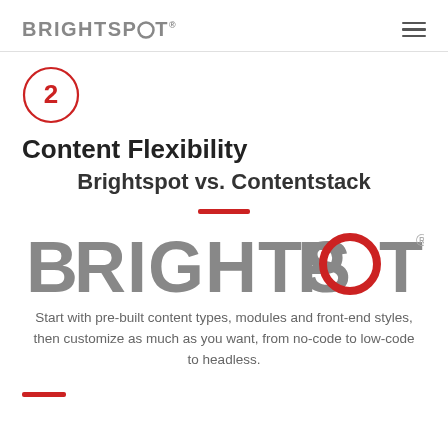BRIGHTSPOT®
[Figure (logo): Brightspot logo in header — grey uppercase letters with red circular O]
[Figure (other): Number 2 inside a red circle outline]
Content Flexibility
Brightspot vs. Contentstack
[Figure (logo): Large Brightspot logo — grey uppercase letters with red ring O and registered trademark symbol]
Start with pre-built content types, modules and front-end styles, then customize as much as you want, from no-code to low-code to headless.